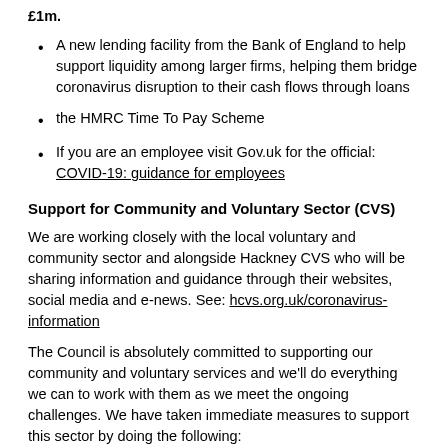£1m.
A new lending facility from the Bank of England to help support liquidity among larger firms, helping them bridge coronavirus disruption to their cash flows through loans
the HMRC Time To Pay Scheme
If you are an employee visit Gov.uk for the official: COVID-19: guidance for employees
Support for Community and Voluntary Sector (CVS)
We are working closely with the local voluntary and community sector and alongside Hackney CVS who will be sharing information and guidance through their websites, social media and e-news. See: hcvs.org.uk/coronavirus-information
The Council is absolutely committed to supporting our community and voluntary services and we'll do everything we can to work with them as we meet the ongoing challenges. We have taken immediate measures to support this sector by doing the following:
A three-month rent-free period for quarter 1 of 2020-21